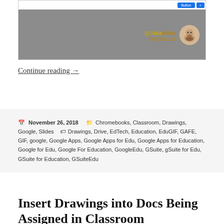[Figure (screenshot): Screenshot of a webpage with gray background and a watermark showing '@JakeMiller' text and a cartoon avatar of a bearded person]
Continue reading →
November 26, 2018   Categories: Chromebooks, Classroom, Drawings, Google, Slides   Tags: Drawings, Drive, EdTech, Education, EduGIF, GAFE, GIF, google, Google Apps, Google Apps for Edu, Google Apps for Education, Google for Edu, Google For Education, GoogleEdu, GSuite, gSuite for Edu, GSuite for Education, GSuiteEdu
Insert Drawings into Docs Being Assigned in Classroom